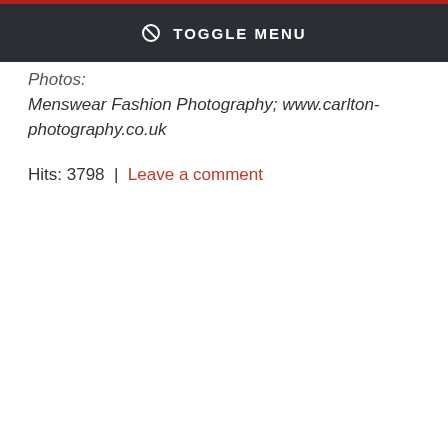⊘ TOGGLE MENU
Photos:
Menswear Fashion Photography; www.carlton-photography.co.uk
Hits: 3798  |  Leave a comment